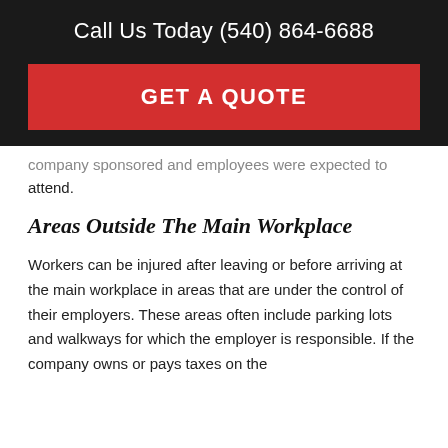Call Us Today (540) 864-6688
GET A QUOTE
company sponsored and employees were expected to attend.
Areas Outside The Main Workplace
Workers can be injured after leaving or before arriving at the main workplace in areas that are under the control of their employers. These areas often include parking lots and walkways for which the employer is responsible. If the company owns or pays taxes on the